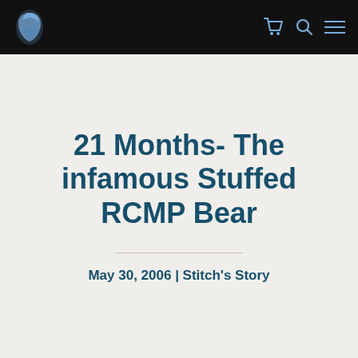[Figure (logo): Website navigation bar with a stylized bird/knight logo icon in blue on black background, with shopping cart, search, and hamburger menu icons]
21 Months- The infamous Stuffed RCMP Bear
May 30, 2006 | Stitch's Story